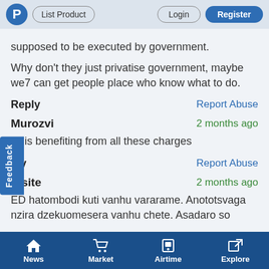P  List Product  Login  Register
supposed to be executed by government.
Why don't they just privatise government, maybe we7 can get people place who know what to do.
Reply   Report Abuse
Murozvi   2 months ago
o is benefiting from all these charges
ply   Report Abuse
rasite   2 months ago
ED hatombodi kuti vanhu vararame. Anototsvaga nzira dzekuomesera vanhu chete. Asadaro so
News  Market  Airtime  Explore